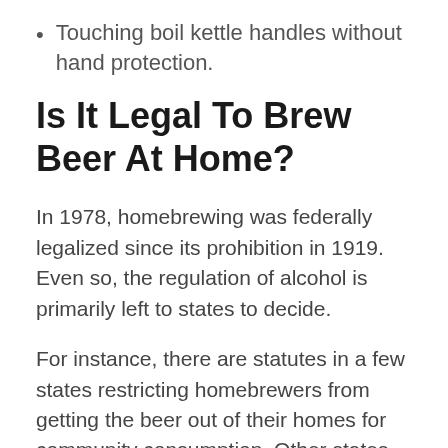Touching boil kettle handles without hand protection.
Is It Legal To Brew Beer At Home?
In 1978, homebrewing was federally legalized since its prohibition in 1919. Even so, the regulation of alcohol is primarily left to states to decide.
For instance, there are statutes in a few states restricting homebrewers from getting the beer out of their homes for community consumption. Other states